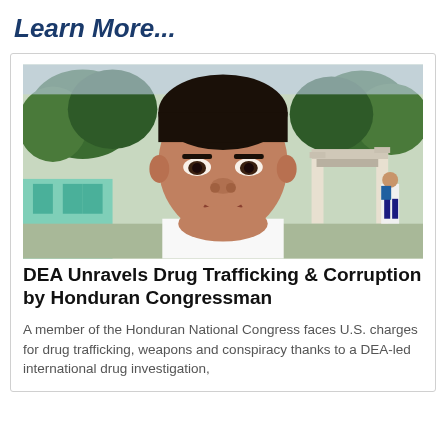Learn More...
[Figure (photo): Close-up photo of a Latin American man with dark hair, wearing a white shirt, standing outdoors with trees and a building entrance visible in the background.]
DEA Unravels Drug Trafficking & Corruption by Honduran Congressman
A member of the Honduran National Congress faces U.S. charges for drug trafficking, weapons and conspiracy thanks to a DEA-led international drug investigation,